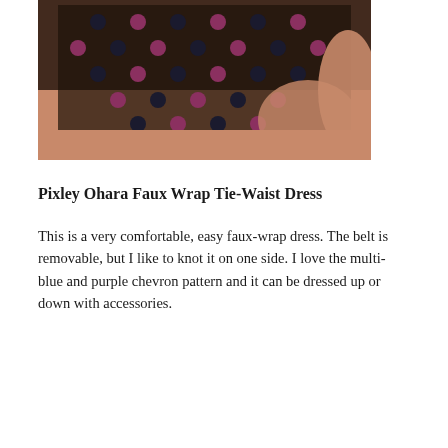[Figure (photo): Close-up photo of a beaded jewelry necklace with black and pink/mauve beads arranged in a chainmail or mesh-like pattern, worn against a warm-toned skin background.]
Pixley Ohara Faux Wrap Tie-Waist Dress
This is a very comfortable, easy faux-wrap dress. The belt is removable, but I like to knot it on one side. I love the multi-blue and purple chevron pattern and it can be dressed up or down with accessories.